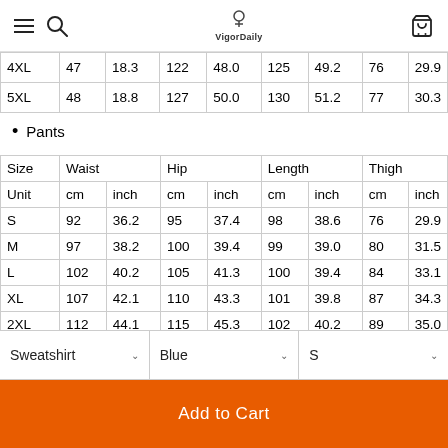VigorDaily navigation header with hamburger, search, logo, cart
|  |  |  |  |  |  |  |  |  |
| --- | --- | --- | --- | --- | --- | --- | --- | --- |
| 4XL | 47 | 18.3 | 122 | 48.0 | 125 | 49.2 | 76 | 29.9 |
| 5XL | 48 | 18.8 | 127 | 50.0 | 130 | 51.2 | 77 | 30.3 |
Pants
| Size | Waist |  | Hip |  | Length |  | Thigh |  |
| --- | --- | --- | --- | --- | --- | --- | --- | --- |
| Unit | cm | inch | cm | inch | cm | inch | cm | inch |
| S | 92 | 36.2 | 95 | 37.4 | 98 | 38.6 | 76 | 29.9 |
| M | 97 | 38.2 | 100 | 39.4 | 99 | 39.0 | 80 | 31.5 |
| L | 102 | 40.2 | 105 | 41.3 | 100 | 39.4 | 84 | 33.1 |
| XL | 107 | 42.1 | 110 | 43.3 | 101 | 39.8 | 87 | 34.3 |
| 2XL | 112 | 44.1 | 115 | 45.3 | 102 | 40.2 | 89 | 35.0 |
| 3XL | 117 | 46.1 | 120 | 47.2 | 103 | 40.6 | 92 | 36.2 |
Sweatshirt | Blue | S
Add to Cart